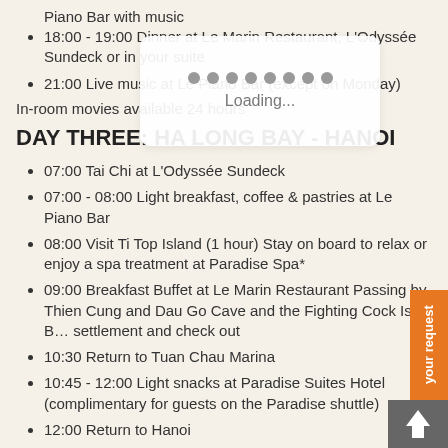Piano Bar with music
18:00 - 19:00 Dinner at Le Marin Restaurant, L'Odyssée Sundeck or in your suite
21:00 Live music at Le Piano Bar (except on Monday)
In-room movies available 24 hours
DAY THREE: HA LONG BAY - HANOI
07:00 Tai Chi at L'Odyssée Sundeck
07:00 - 08:00 Light breakfast, coffee & pastries at Le Piano Bar
08:00 Visit Ti Top Island (1 hour) Stay on board to relax or enjoy a spa treatment at Paradise Spa*
09:00 Breakfast Buffet at Le Marin Restaurant Passing by Thien Cung and Dau Go Cave and the Fighting Cock Islet B… settlement and check out
10:30 Return to Tuan Chau Marina
10:45 - 12:00 Light snacks at Paradise Suites Hotel (complimentary for guests on the Paradise shuttle)
12:00 Return to Hanoi
NOTES
Change of Itineraries